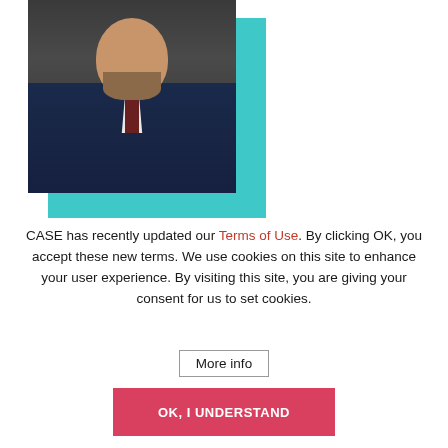[Figure (photo): Professional headshot of a bald man with a beard wearing a navy suit and dark tie, photographed against a dark background with a teal/cyan decorative rectangle element behind the photo]
CASE has recently updated our Terms of Use. By clicking OK, you accept these new terms. We use cookies on this site to enhance your user experience. By visiting this site, you are giving your consent for us to set cookies.
More info
OK, I UNDERSTAND